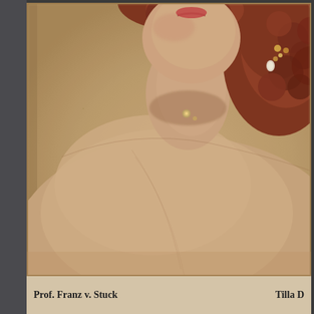[Figure (illustration): A partial view of a painted portrait showing a woman with curly auburn/reddish hair adorned with jeweled accessories, a pale complexion, and bare shoulders/décolletage. The painting has a warm sepia-tan background. The top portion of the figure is visible including the neck area with a small brooch. The style is academic realism typical of late 19th/early 20th century portraiture. The image is framed with a thin border.]
Prof. Franz v. Stuck    Tilla D